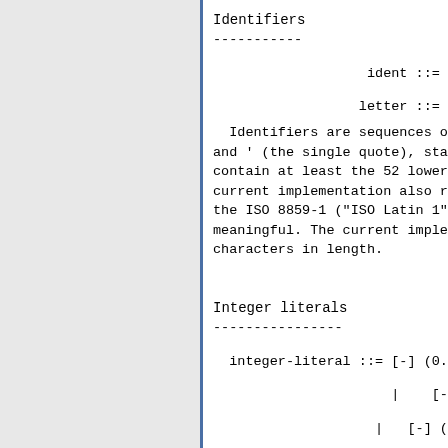Identifiers
-----------
Identifiers are sequences of and ' (the single quote), star contain at least the 52 lowero current implementation also re the ISO 8859-1 ("ISO Latin 1") meaningful. The current implem characters in length.
Integer literals
----------------